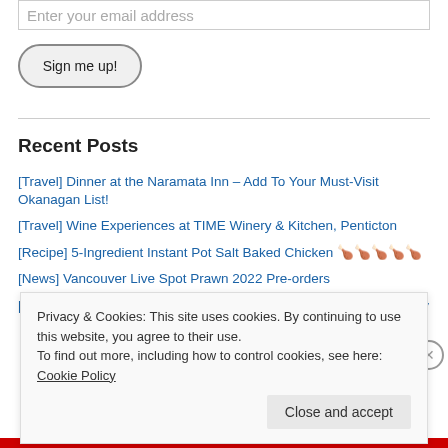Enter your email address
Sign me up!
Recent Posts
[Travel] Dinner at the Naramata Inn – Add To Your Must-Visit Okanagan List!
[Travel] Wine Experiences at TIME Winery & Kitchen, Penticton
[Recipe] 5-Ingredient Instant Pot Salt Baked Chicken 🍗🍗🍗🍗🍗
[News] Vancouver Live Spot Prawn 2022 Pre-orders
[News] Indonesian Highland Tea Launched at 500 Canadian Grocery
Privacy & Cookies: This site uses cookies. By continuing to use this website, you agree to their use.
To find out more, including how to control cookies, see here: Cookie Policy
Close and accept